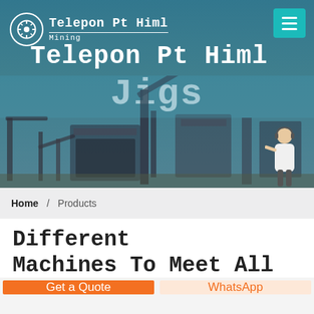Telepon Pt Himla Mining Jigs
Home / Products
Different Machines To Meet All Need
[Figure (screenshot): Partial view of industrial machinery/warehouse interior with dark blue ceiling and equipment]
Get a Quote
WhatsApp